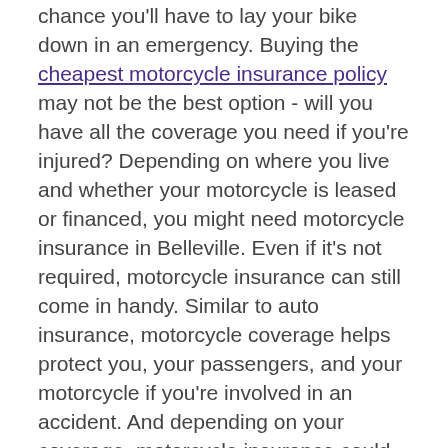Whether you're an experienced rider or not, there's always the chance you'll have to lay your bike down in an emergency. Buying the cheapest motorcycle insurance policy may not be the best option - will you have all the coverage you need if you're injured? Depending on where you live and whether your motorcycle is leased or financed, you might need motorcycle insurance in Belleville. Even if it's not required, motorcycle insurance can still come in handy. Similar to auto insurance, motorcycle coverage helps protect you, your passengers, and your motorcycle if you're involved in an accident. And depending on your coverage, motorcycle insurance could help pay for bike damage, medical expenses, and event dents and dings to custom bike parts from hail. Motorcycle insurance can benefit all types of riders and all skill levels. Call, click, or come in soon to speak with a local Belleville Acceptance agent and find the best IL motorcycle insurance policy for you. We'll work to get you a plan that matches your personal needs, financial situation, and Illinois motorcycle requirements. When you partner with Acceptance, you can feel confident when it's time to hit the road!
Roadside Assistance in Belleville for Those 'Oh No' Moments